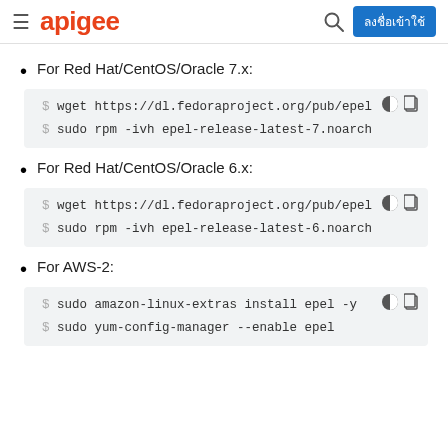apigee | ลงชื่อเข้าใช้
For Red Hat/CentOS/Oracle 7.x:
$ wget https://dl.fedoraproject.org/pub/epel
$ sudo rpm -ivh epel-release-latest-7.noarch
For Red Hat/CentOS/Oracle 6.x:
$ wget https://dl.fedoraproject.org/pub/epel
$ sudo rpm -ivh epel-release-latest-6.noarch
For AWS-2:
$ sudo amazon-linux-extras install epel -y
$ sudo yum-config-manager --enable epel